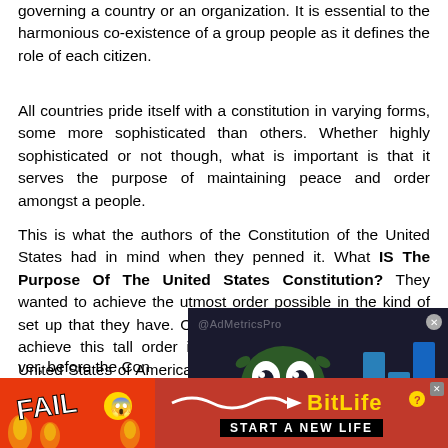governing a country or an organization. It is essential to the harmonious co-existence of a group people as it defines the role of each citizen.
All countries pride itself with a constitution in varying forms, some more sophisticated than others. Whether highly sophisticated or not though, what is important is that it serves the purpose of maintaining peace and order amongst a people.
This is what the authors of the Constitution of the United States had in mind when they penned it. What IS The Purpose Of The United States Constitution? They wanted to achieve the utmost order possible in the kind of set up that they have. Obviously, a constitution that would achieve this tall order is necessary considering that the United States of America is the unification of 50 states that used to have their own sets of rules. The present Constitution clearly defines the duties as well as the powers of the government, namely, the Supreme Court. Those branches were covered b
[Figure (screenshot): Advertisement overlay with a dark background showing a cartoon monster with large eyes, blue bar chart shapes, and @AdMetricsPro watermark. Below is a BitLife ad banner with red background, FAIL text, animated girl emoji, BitLife logo in gold with 'START A NEW LIFE' text.]
ver, before the Con